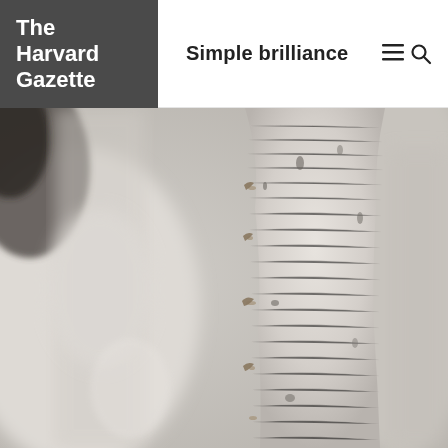The Harvard Gazette
Simple brilliance
[Figure (photo): Close-up photograph of a birch tree trunk with white and grey textured bark, small buds and lichen details visible, blurred background showing more birch bark]